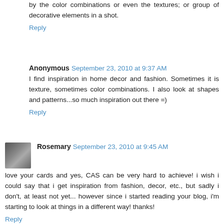by the color combinations or even the textures; or group of decorative elements in a shot.
Reply
Anonymous  September 23, 2010 at 9:37 AM
I find inspiration in home decor and fashion. Sometimes it is texture, sometimes color combinations. I also look at shapes and patterns...so much inspiration out there =)
Reply
Rosemary  September 23, 2010 at 9:45 AM
love your cards and yes, CAS can be very hard to achieve! i wish i could say that i get inspiration from fashion, decor, etc., but sadly i don't, at least not yet... however since i started reading your blog, i'm starting to look at things in a different way! thanks!
Reply